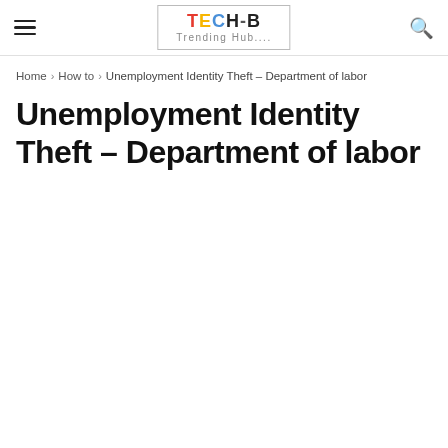TECH-B Trending Hub....
Home › How to › Unemployment Identity Theft – Department of labor
Unemployment Identity Theft – Department of labor